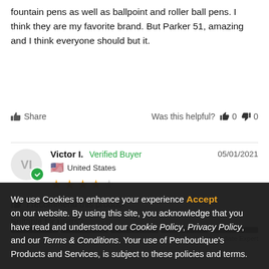fountain pens as well as ballpoint and roller ball pens. I think they are my favorite brand. But Parker 51, amazing and I think everyone should but it.
Share   Was this helpful?  👍 0  👎 0
Victor I.  Verified Buyer  05/01/2021
🇺🇸 United States
★★★★☆
👍 I recommend this product
Suitable for users?
We use Cookies to enhance your experience on our website. By using this site, you acknowledge that you have read and understood our Cookie Policy, Privacy Policy, and our Terms & Conditions. Your use of Penboutique's Products and Services, is subject to these policies and terms.